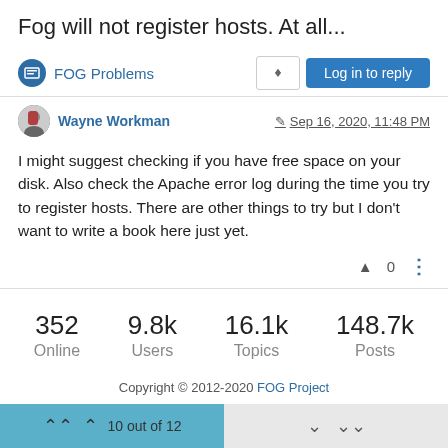Fog will not register hosts. At all...
FOG Problems
Wayne Workman  Sep 16, 2020, 11:48 PM
I might suggest checking if you have free space on your disk. Also check the Apache error log during the time you try to register hosts. There are other things to try but I don’t want to write a book here just yet.
0
352 Online   9.8k Users   16.1k Topics   148.7k Posts
Copyright © 2012-2020 FOG Project
10 out of 12